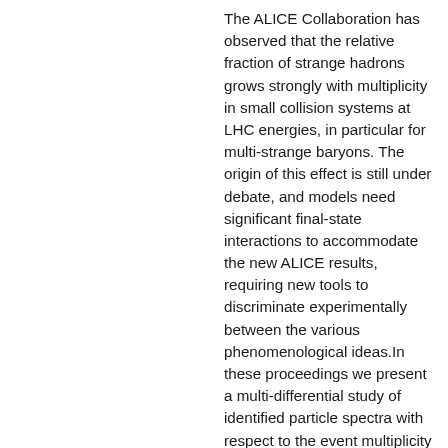The ALICE Collaboration has observed that the relative fraction of strange hadrons grows strongly with multiplicity in small collision systems at LHC energies, in particular for multi-strange baryons. The origin of this effect is still under debate, and models need significant final-state interactions to accommodate the new ALICE results, requiring new tools to discriminate experimentally between the various phenomenological ideas.In these proceedings we present a multi-differential study of identified particle spectra with respect to the event multiplicity and two different event shape observables, the unweighted transverse spherocity SOpT=1, and the self-normalized, transverse charged particle density, RT, which allows us to explore particle production associated with hard and soft QCD processes. [...]
Les Ulis : EDP Sciences, 2022 - 4 p. - Published in : EPJ Web Conf. 259 (2022) 13005 Fulltext: PDF; In : The 19th International Conference on Strangeness in Quark Matter, Online, Online, 17 - 22